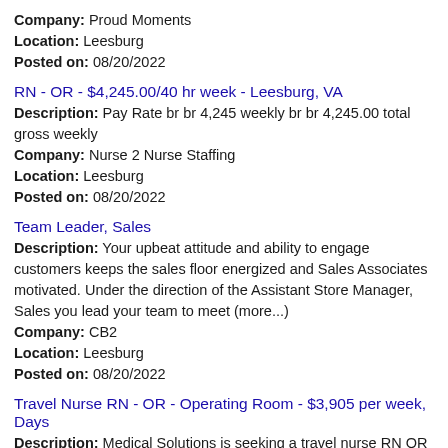Company: Proud Moments
Location: Leesburg
Posted on: 08/20/2022
RN - OR - $4,245.00/40 hr week - Leesburg, VA
Description: Pay Rate br br 4,245 weekly br br 4,245.00 total gross weekly
Company: Nurse 2 Nurse Staffing
Location: Leesburg
Posted on: 08/20/2022
Team Leader, Sales
Description: Your upbeat attitude and ability to engage customers keeps the sales floor energized and Sales Associates motivated. Under the direction of the Assistant Store Manager, Sales you lead your team to meet (more...)
Company: CB2
Location: Leesburg
Posted on: 08/20/2022
Travel Nurse RN - OR - Operating Room - $3,905 per week, Days
Description: Medical Solutions is seeking a travel nurse RN OR - Operating Room for a travel nursing job in Leesburg, Virginia.Job